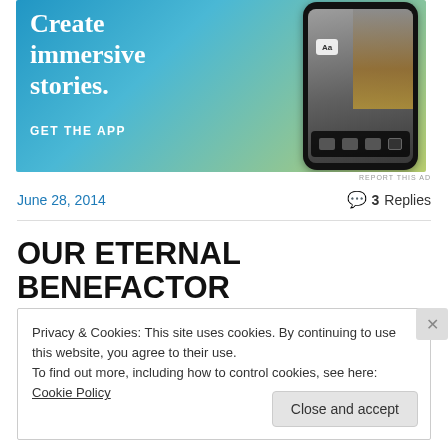[Figure (screenshot): Advertisement banner showing 'Create immersive stories. GET THE APP' with a phone mockup on a blue-to-yellow gradient background]
REPORT THIS AD
June 28, 2014
3 Replies
OUR ETERNAL BENEFACTOR
Privacy & Cookies: This site uses cookies. By continuing to use this website, you agree to their use. To find out more, including how to control cookies, see here: Cookie Policy
Close and accept